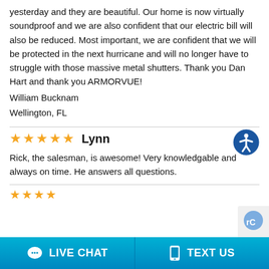yesterday and they are beautiful. Our home is now virtually soundproof and we are also confident that our electric bill will also be reduced. Most important, we are confident that we will be protected in the next hurricane and will no longer have to struggle with those massive metal shutters. Thank you Dan Hart and thank you ARMORVUE!
William Bucknam
Wellington, FL
★★★★★ Lynn
Rick, the salesman, is awesome! Very knowledgable and always on time. He answers all questions.
LIVE CHAT   TEXT US